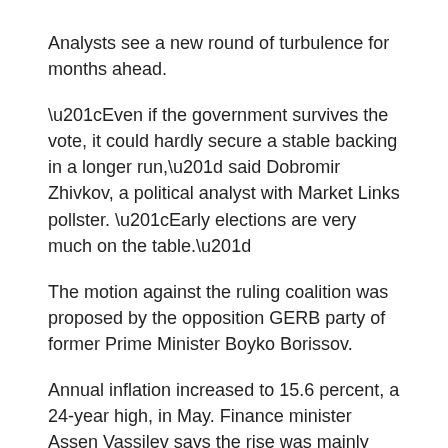Analysts see a new round of turbulence for months ahead.
“Even if the government survives the vote, it could hardly secure a stable backing in a longer run,” said Dobromir Zhivkov, a political analyst with Market Links pollster. “Early elections are very much on the table.”
The motion against the ruling coalition was proposed by the opposition GERB party of former Prime Minister Boyko Borissov.
Annual inflation increased to 15.6 percent, a 24-year high, in May. Finance minister Assen Vassilev says the rise was mainly due to high energy and food prices, driven by the war in Ukraine.
A new vote is likely to benefit Borissov’s GERB party, as well as pro-Russian parties like nationalist Revival, as economic woes and the war in Ukraine polarise the society.